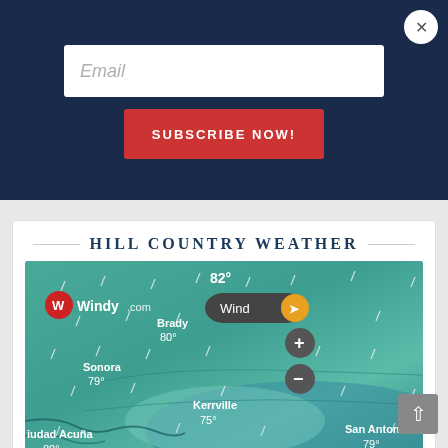Email
SUBSCRIBE NOW!
HILL COUNTRY WEATHER
[Figure (map): Windy.com weather map showing wind conditions over the Texas Hill Country area. Cities shown: Brady 80°, Sonora 79°, Kerrville 75°, San Antonio 79°, Ciudad Acuña 80°. Top temperature shown: 82°. Map controls include Wind mode selector, + and - zoom buttons.]